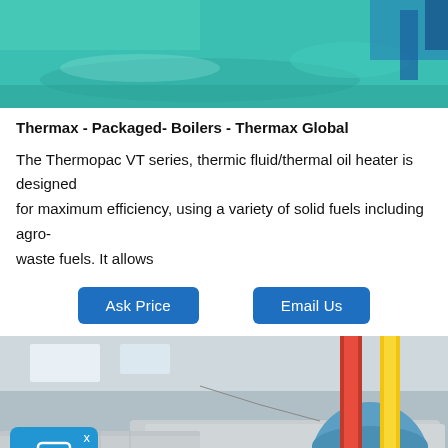[Figure (photo): Industrial green epoxy floor / factory interior, top photo banner]
Thermax - Packaged- Boilers - Thermax Global
The Thermopac VT series, thermic fluid/thermal oil heater is designed for maximum efficiency, using a variety of solid fuels including agro-waste fuels. It allows
[Figure (photo): Industrial boiler/thermal oil heater equipment in a factory, with silver insulated pipes, blue tank, red and yellow vertical pipes, and a chat widget overlay]